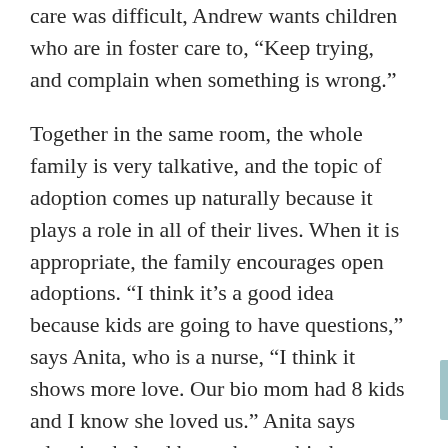care was difficult, Andrew wants children who are in foster care to, “Keep trying, and complain when something is wrong.”
Together in the same room, the whole family is very talkative, and the topic of adoption comes up naturally because it plays a role in all of their lives. When it is appropriate, the family encourages open adoptions. “I think it’s a good idea because kids are going to have questions,” says Anita, who is a nurse, “I think it shows more love. Our bio mom had 8 kids and I know she loved us.” Anita says adoption helped her to have a big heart. “If I’m working with a doctor’s child or a child in the system, I don’t care. I have